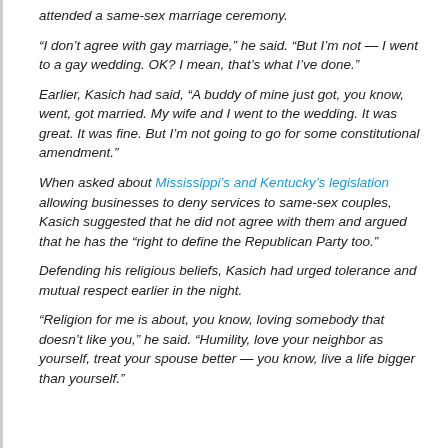attended a same-sex marriage ceremony.
“I don’t agree with gay marriage,” he said. “But I’m not — I went to a gay wedding. OK? I mean, that’s what I’ve done.”
Earlier, Kasich had said, “A buddy of mine just got, you know, went, got married. My wife and I went to the wedding. It was great. It was fine. But I’m not going to go for some constitutional amendment.”
When asked about Mississippi’s and Kentucky’s legislation allowing businesses to deny services to same-sex couples, Kasich suggested that he did not agree with them and argued that he has the “right to define the Republican Party too.”
Defending his religious beliefs, Kasich had urged tolerance and mutual respect earlier in the night.
“Religion for me is about, you know, loving somebody that doesn’t like you,” he said. “Humility, love your neighbor as yourself, treat your spouse better — you know, live a life bigger than yourself.”